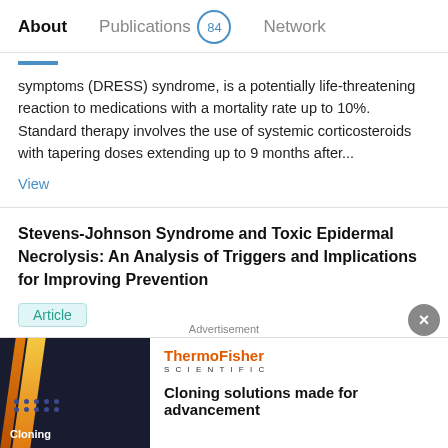About   Publications 84   Network
symptoms (DRESS) syndrome, is a potentially life-threatening reaction to medications with a mortality rate up to 10%. Standard therapy involves the use of systemic corticosteroids with tapering doses extending up to 9 months after...
View
Stevens-Johnson Syndrome and Toxic Epidermal Necrolysis: An Analysis of Triggers and Implications for Improving Prevention
Article
Apr 2016
Monica A. Miliszewski · Mark G Kirchhof · Sheena Sikora · [...] · Jan P. Dutz
[Figure (screenshot): ThermoFisher Scientific advertisement banner with cloning image and text 'Cloning solutions made for advancement']
Advertisement
Cloning solutions made for advancement